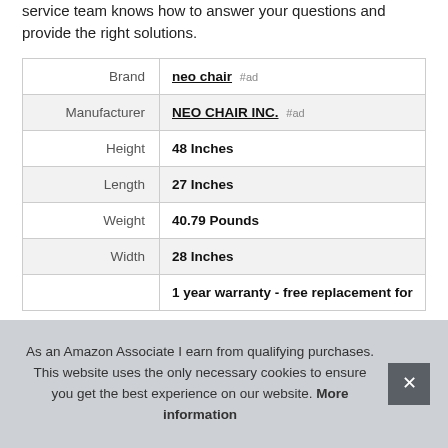service team knows how to answer your questions and provide the right solutions.
|  |  |
| --- | --- |
| Brand | neo chair #ad |
| Manufacturer | NEO CHAIR INC. #ad |
| Height | 48 Inches |
| Length | 27 Inches |
| Weight | 40.79 Pounds |
| Width | 28 Inches |
|  | 1 year warranty - free replacement for |
As an Amazon Associate I earn from qualifying purchases. This website uses the only necessary cookies to ensure you get the best experience on our website. More information